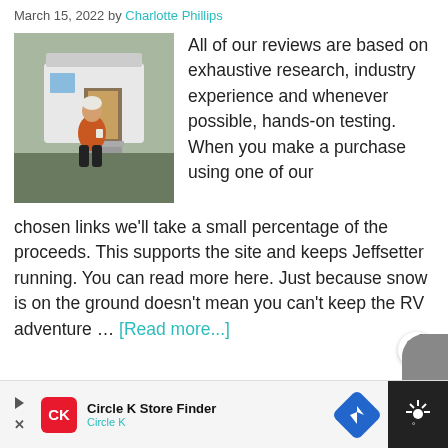March 15, 2022 by Charlotte Phillips
[Figure (photo): Woman in orange coat sitting on steps of an RV camper van outdoors]
All of our reviews are based on exhaustive research, industry experience and whenever possible, hands-on testing. When you make a purchase using one of our chosen links we'll take a small percentage of the proceeds. This supports the site and keeps Jeffsetter running. You can read more here. Just because snow is on the ground doesn't mean you can't keep the RV adventure … [Read more...]
[Figure (other): Circle K Store Finder advertisement banner with Circle K logo and navigation arrow icon]